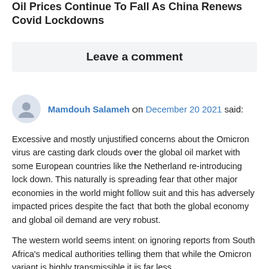Oil Prices Continue To Fall As China Renews Covid Lockdowns
Leave a comment
Mamdouh Salameh on December 20 2021 said:
Excessive and mostly unjustified concerns about the Omicron virus are casting dark clouds over the global oil market with some European countries like the Netherland re-introducing lock down. This naturally is spreading fear that other major economies in the world might follow suit and this has adversely impacted prices despite the fact that both the global economy and global oil demand are very robust.
The western world seems intent on ignoring reports from South Africa's medical authorities telling them that while the Omicron variant is highly transmissible it is far less...